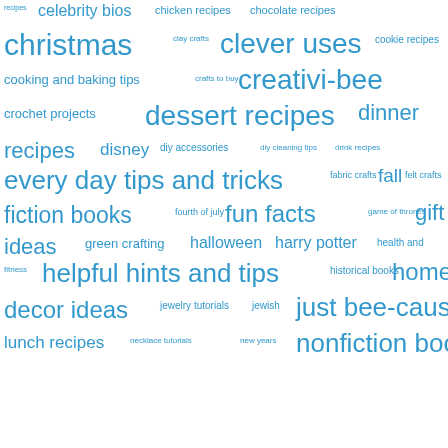[Figure (infographic): Word cloud with various blog/website category tags in blue on white background. Larger words indicate more popular/frequent categories. Words include: recipes, celebrity bios, chicken recipes, chocolate recipes, christmas, clay crafts, clever uses, cookie recipes, cooking and baking tips, crafts to buy, creativi-bee, crochet projects, dessert recipes, dinner recipes, disney, diy accessories, diy cleaning tips, drink recipes, every day tips and tricks, fabric crafts, fall, felt crafts, fiction books, fourth of july, fun facts, game of thrones, gift ideas, green crafting, halloween, harry potter, health and fitness, helpful hints and tips, historical books, home decor ideas, jewelry tutorials, jewish, just bee-cause, lunch recipes, necklace tutorials, new years, nonfiction books]